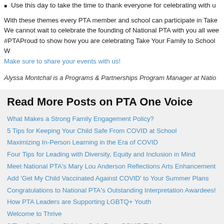Use this day to take the time to thank everyone for celebrating with u
With these themes every PTA member and school can participate in Take We cannot wait to celebrate the founding of National PTA with you all wee #PTAProud to show how you are celebrating Take Your Family to School W
Make sure to share your events with us!
Alyssa Montchal is a Programs & Partnerships Program Manager at Natio
Read More Posts on PTA One Voice
What Makes a Strong Family Engagement Policy?
5 Tips for Keeping Your Child Safe From COVID at School
Maximizing In-Person Learning in the Era of COVID
Four Tips for Leading with Diversity, Equity and Inclusion in Mind
Meet National PTA's Mary Lou Anderson Reflections Arts Enhancement
Add 'Get My Child Vaccinated Against COVID' to Your Summer Plans
Congratulations to National PTA's Outstanding Interpretation Awardees!
How PTA Leaders are Supporting LGBTQ+ Youth
Welcome to Thrive
6 Tips for Keeping Children Safe From COVID This Summer
The Achievery, Created by AT&T
We Are Well Beyond Enough Is Enough